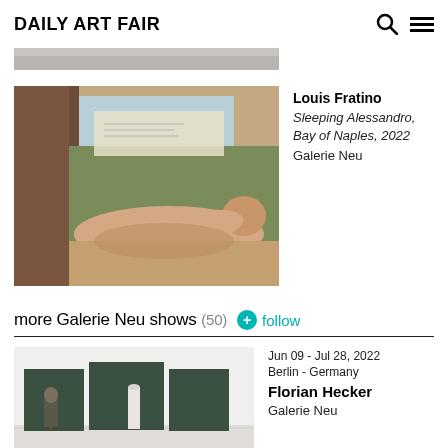Daily Art Fair
[Figure (photo): Partial top of an artwork image, cropped, showing a dark and light image strip]
[Figure (photo): Louis Fratino painting 'Sleeping Alessandro, Bay of Naples, 2022' - a figurative painting showing a reclining nude figure with landscape background]
Louis Fratino
Sleeping Alessandro, Bay of Naples, 2022
Galerie Neu
more Galerie Neu shows (50)  + follow
[Figure (photo): Installation view of Florian Hecker show at Galerie Neu - white room with dark green panels and cylindrical sculpture, person standing for scale]
Jun 09 - Jul 28, 2022
Berlin - Germany
Florian Hecker
Galerie Neu